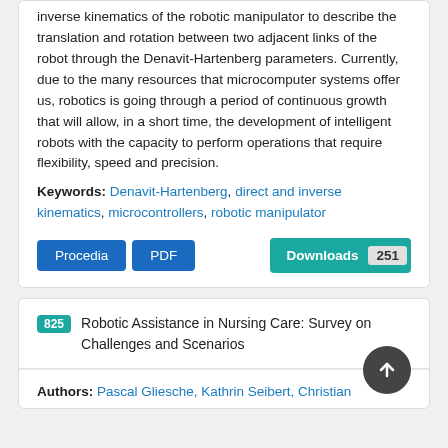inverse kinematics of the robotic manipulator to describe the translation and rotation between two adjacent links of the robot through the Denavit-Hartenberg parameters. Currently, due to the many resources that microcomputer systems offer us, robotics is going through a period of continuous growth that will allow, in a short time, the development of intelligent robots with the capacity to perform operations that require flexibility, speed and precision.
Keywords: Denavit-Hartenberg, direct and inverse kinematics, microcontrollers, robotic manipulator
Procedia | PDF | Downloads 251
825 Robotic Assistance in Nursing Care: Survey on Challenges and Scenarios
Authors: Pascal Gliesche, Kathrin Seibert, Christian